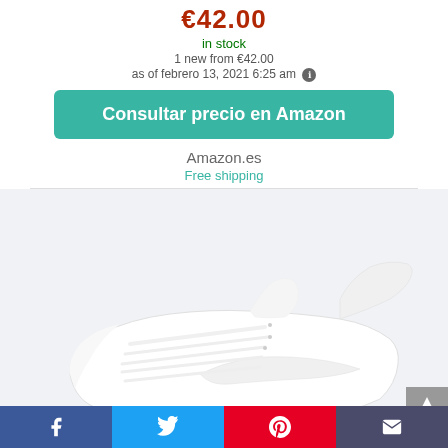€42.00
in stock
1 new from €42.00
as of febrero 13, 2021 6:25 am
Consultar precio en Amazon
Amazon.es
Free shipping
[Figure (photo): Nike white low-top sneaker (Court Royale style) photographed from the side on a white background]
Social sharing bar: Facebook, Twitter, Pinterest, Email